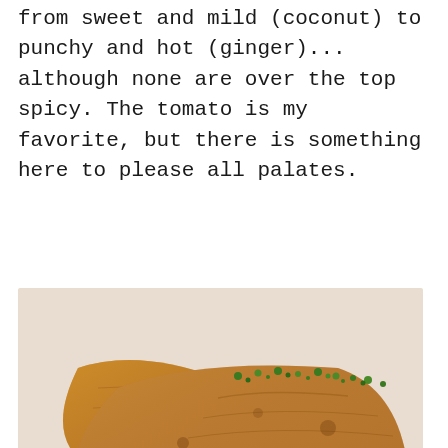from sweet and mild (coconut) to punchy and hot (ginger)... although none are over the top spicy. The tomato is my favorite, but there is something here to please all palates.
[Figure (photo): Close-up photo of Spring Dosa — a folded fermented lentil and rice crepe stuffed with tomatoes, onions, and other vegetables, garnished with chopped green herbs, served on a white plate.]
The Spring Dosa—a fermented lentil and rice crepe stuffed with tomatoes, onions,